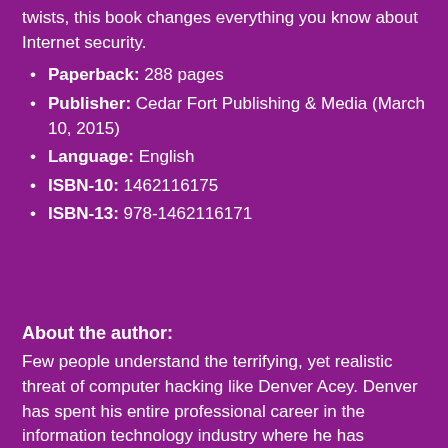twists, this book changes everything you know about Internet security.
Paperback: 288 pages
Publisher: Cedar Fort Publishing & Media (March 10, 2015)
Language: English
ISBN-10: 1462116175
ISBN-13: 978-1462116171
About the author:
Few people understand the terrifying, yet realistic threat of computer hacking like Denver Acey. Denver has spent his entire professional career in the information technology industry where he has witnessed and even thwarted actual cybercrime. From his top-secret job working for the US government to securing computer networks at Fortune 500